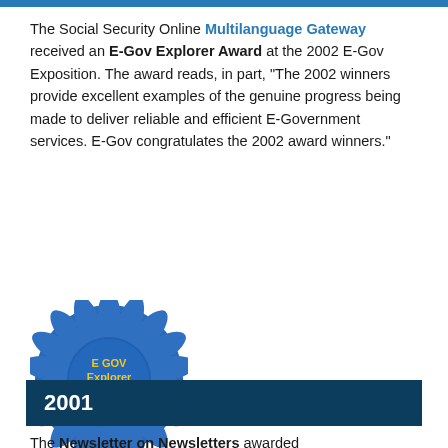The Social Security Online Multilanguage Gateway received an E-Gov Explorer Award at the 2002 E-Gov Exposition. The award reads, in part, "The 2002 winners provide excellent examples of the genuine progress being made to deliver reliable and efficient E-Government services. E-Gov congratulates the 2002 award winners."
[Figure (illustration): Blue ribbon rosette award badge with yellow text reading 'E GOV Explorer Award']
2001
The Newsletter on Newsletters awarded